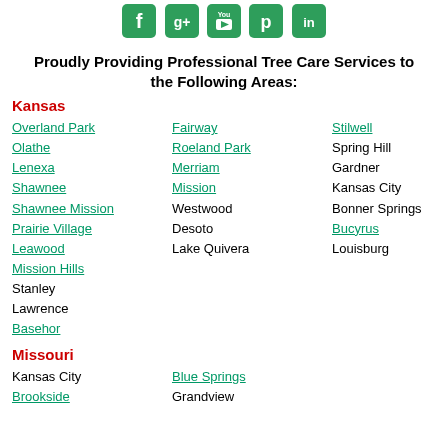[Figure (logo): Social media icons row: Facebook, Google+, YouTube, Pinterest, LinkedIn — green rounded square icons]
Proudly Providing Professional Tree Care Services to the Following Areas:
Kansas
Overland Park, Fairway, Stilwell, Olathe, Roeland Park, Spring Hill, Lenexa, Merriam, Gardner, Shawnee, Mission, Kansas City, Shawnee Mission, Westwood, Bonner Springs, Prairie Village, Desoto, Bucyrus, Leawood, Lake Quivera, Louisburg, Mission Hills, Stanley, Lawrence, Basehor
Missouri
Kansas City, Blue Springs, Brookside, Grandview